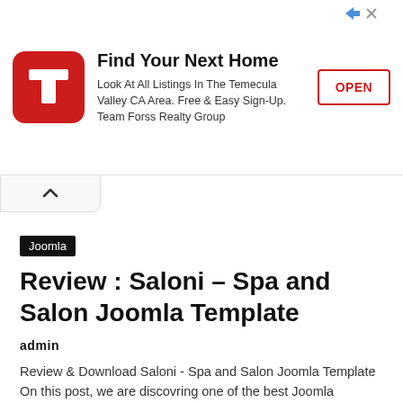[Figure (infographic): Advertisement banner for Team Forss Realty Group with red TF logo, headline 'Find Your Next Home', description text, and OPEN button]
Joomla
Review : Saloni – Spa and Salon Joomla Template
admin
Review & Download Saloni - Spa and Salon Joomla Template On this post, we are discovring one of the best Joomla Templates in 2018, Saloni…